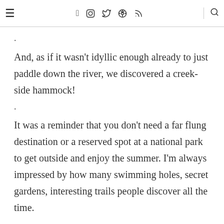≡  f  [instagram]  [twitter]  [pinterest]  [rss]  [search]
.
And, as if it wasn't idyllic enough already to just paddle down the river, we discovered a creek-side hammock!
.
It was a reminder that you don't need a far flung destination or a reserved spot at a national park to get outside and enjoy the summer. I'm always impressed by how many swimming holes, secret gardens, interesting trails people discover all the time.